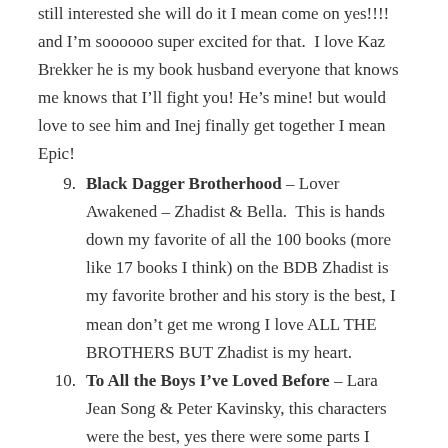still interested she will do it I mean come on yes!!!! and I'm soooooo super excited for that.  I love Kaz Brekker he is my book husband everyone that knows me knows that I'll fight you! He's mine! but would love to see him and Inej finally get together I mean Epic!
Black Dagger Brotherhood – Lover Awakened – Zhadist & Bella.  This is hands down my favorite of all the 100 books (more like 17 books I think) on the BDB Zhadist is my favorite brother and his story is the best, I mean don't get me wrong I love ALL THE BROTHERS BUT Zhadist is my heart.
To All the Boys I've Loved Before – Lara Jean Song & Peter Kavinsky, this characters were the best, yes there were some parts I hated then some I truly loved.  Go read it!
And I'm giving you a bonus with these last two I just